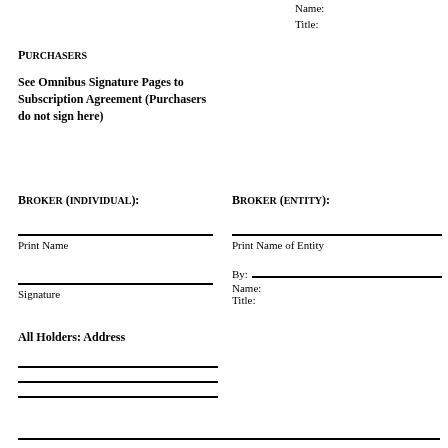Name:
Title:
Purchasers
See Omnibus Signature Pages to Subscription Agreement (Purchasers do not sign here)
Broker (individual):
Broker (entity):
Print Name
Print Name of Entity
Signature
By:
Name:
Title:
All Holders: Address